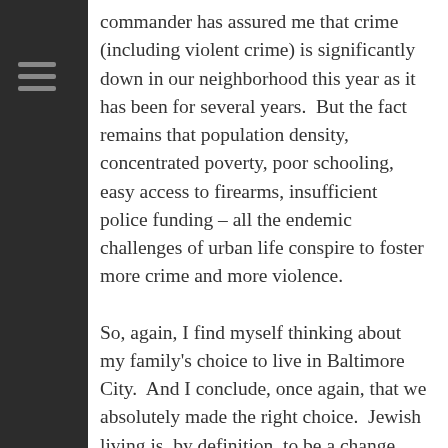commander has assured me that crime (including violent crime) is significantly down in our neighborhood this year as it has been for several years.  But the fact remains that population density, concentrated poverty, poor schooling, easy access to firearms, insufficient police funding – all the endemic challenges of urban life conspire to foster more crime and more violence.
So, again, I find myself thinking about my family's choice to live in Baltimore City.  And I conclude, once again, that we absolutely made the right choice.  Jewish living is, by definition, to be a change agent, to leave our society and our world better, fuller, safer and healthier than we found it.  I've explored, in numerous other posts, the benefits of city living.  Across the nation, cities are on the upswing. They're